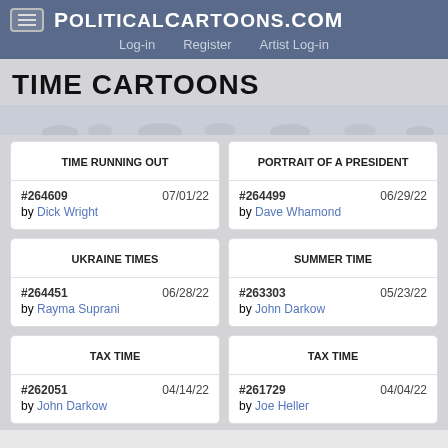POLITICALCARTOONS.COM | Log-in | Register | Artist Log-in
TIME CARTOONS
TIME RUNNING OUT
#264609 07/01/22
by Dick Wright
PORTRAIT OF A PRESIDENT
#264499 06/29/22
by Dave Whamond
UKRAINE TIMES
#264451 06/28/22
by Rayma Suprani
SUMMER TIME
#263303 05/23/22
by John Darkow
TAX TIME
#262051 04/14/22
by John Darkow
TAX TIME
#261729 04/04/22
by Joe Heller